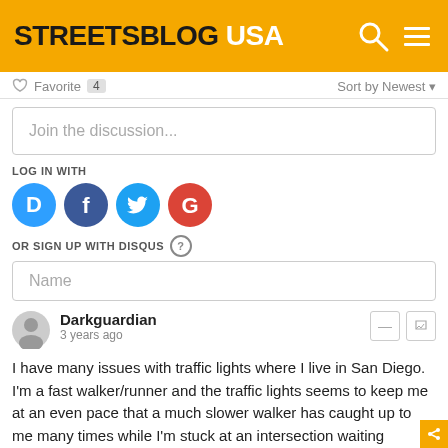STREETSBLOG USA
Favorite  4    Sort by Newest
Join the discussion...
LOG IN WITH
[Figure (screenshot): Social login icons: Disqus (blue), Facebook (dark blue), Twitter (light blue), Google (red)]
OR SIGN UP WITH DISQUS ?
Name
Darkguardian
3 years ago
I have many issues with traffic lights where I live in San Diego.
I'm a fast walker/runner and the traffic lights seems to keep me at an even pace that a much slower walker has caught up to me many times while I'm stuck at an intersection waiting